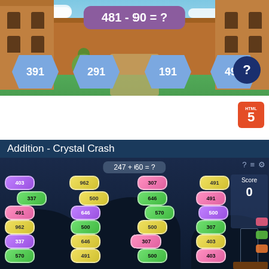[Figure (screenshot): Educational math game screenshot showing a castle background with the question '481 - 90 = ?' in a purple box, and four hexagonal answer buttons showing 391, 291, 191, 491, with a dark blue question mark help circle.]
[Figure (logo): HTML5 badge icon in orange with the number 5 and shield symbol]
Addition - Crystal Crash
[Figure (screenshot): Crystal Crash math game screenshot showing the question '247 + 60 = ?' with many colored gem/crystal bubbles containing numbers: 403, 962, 307, 491, 337, 500, 646, 491, 491, 646, 570, 500, 962, 500, 500, 307, 337, 646, 307, 403, 570, 491, 500, 403. Score panel shows Score: 0.]